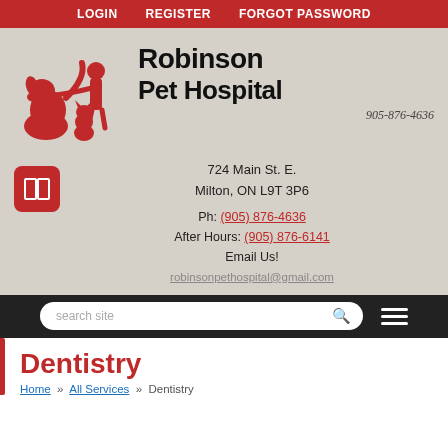LOGIN   REGISTER   FORGOT PASSWORD
[Figure (logo): Robinson Pet Hospital logo with red silhouette illustration of a person with a dog and cat, text 'Robinson Pet Hospital 905-876-4636']
724 Main St. E.
Milton, ON L9T 3P6

Ph: (905) 876-4636
After Hours: (905) 876-6141
Email Us!
robinsonpethospital@gmail.com
search site
Dentistry
Home » All Services » Dentistry